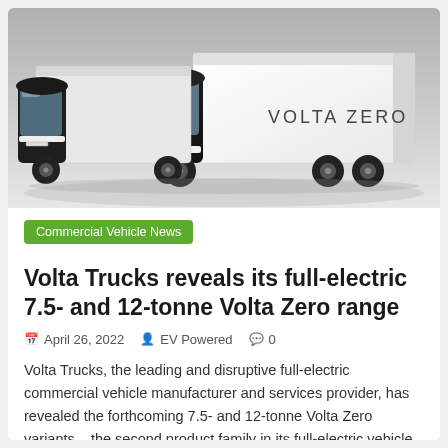[Figure (photo): Two Volta Zero full-electric trucks side by side on a grey background. The truck on the right shows 'VOLTA ZERO' branding on its white cargo box. Both trucks have black cab roofs and distinctive panoramic windshields.]
Commercial Vehicle News
Volta Trucks reveals its full-electric 7.5- and 12-tonne Volta Zero range
April 26, 2022  EV Powered  0
Volta Trucks, the leading and disruptive full-electric commercial vehicle manufacturer and services provider, has revealed the forthcoming 7.5- and 12-tonne Volta Zero variants – the second product family in its full-electric vehicle range.